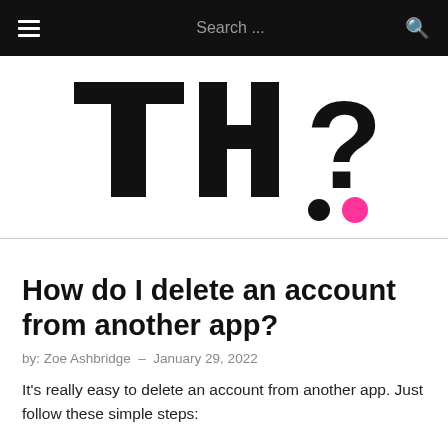Search ...
[Figure (logo): Website logo: stylized characters resembling 'TH?' in large bold black geometric shapes with a black dot and a pink/magenta dot]
How do I delete an account from another app?
by: Zoe Ashbridge – January 29, 2022
It's really easy to delete an account from another app. Just follow these simple steps: